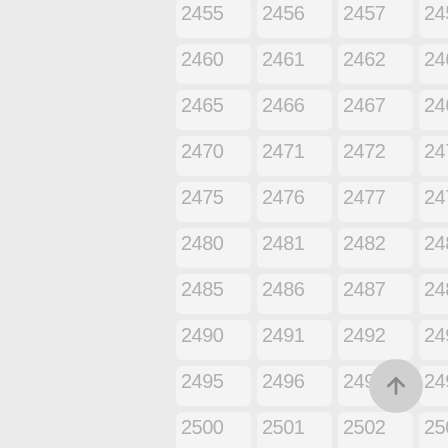[Figure (other): A grid of numbered cells from 2455 to 2509 arranged in 5 columns, with light gray rounded rectangle backgrounds and gray numbers. A circular floating action button with an upward arrow is in the bottom right.]